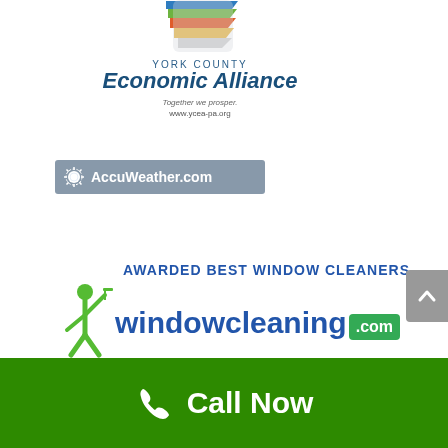[Figure (logo): York County Economic Alliance logo with colorful stacked arrow graphic, text 'YORK COUNTY Economic Alliance', tagline 'Together we prosper.', URL 'www.ycea-pa.org']
[Figure (logo): AccuWeather.com logo: sun icon with text 'AccuWeather.com' on a blue-grey banner background]
[Figure (logo): windowcleaning.com logo with green figure washing a window, 'AWARDED BEST WINDOW CLEANERS' in blue uppercase, 'windowcleaning.com' in blue and green]
[Figure (other): Green 'Call Now' footer bar with phone icon and white text 'Call Now']